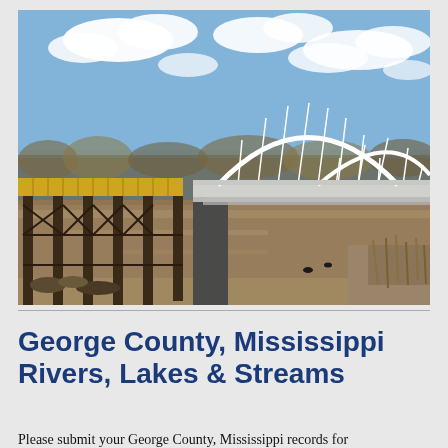[Figure (photo): Photograph of a river bridge scene in George County, Mississippi. On the left is an old wooden/metal trestle bridge structure with brown wooden planks and metal lattice supports rising from the river. In the center-right is a white steel arch truss bridge spanning the river. The river is brown and calm. In the background are bare winter trees and a blue sky with white clouds.]
George County, Mississippi Rivers, Lakes & Streams
Please submit your George County, Mississippi records for